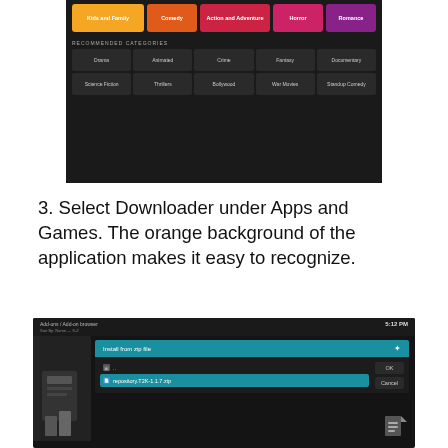[Figure (screenshot): Netflix-style app UI showing genre categories including Kids and Family, Comedy, Action and Adventure, Horror, Romance in colored buttons, and a Recommended Categories grid with Drama, Animated, Crime, Fantasy, Documentary, Science Fiction, Thrillers, Bollywood, War Movies, Standup Comedy]
3. Select Downloader under Apps and Games. The orange background of the application makes it easy to recognize.
[Figure (screenshot): Kodi Add-ons / Add-on browser screen showing 'Install from zip file' dialog at 5:12 PM with a file selected: repository.T2K-1.1.7.zip, with OK and Cancel buttons]